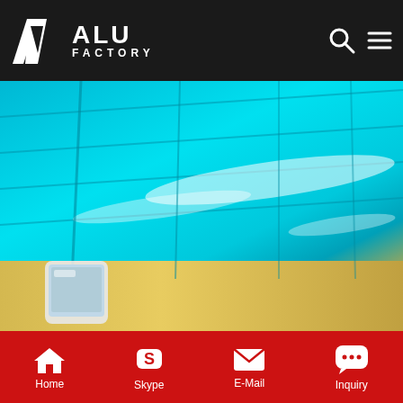ALU FACTORY
[Figure (photo): Close-up photo of color-coated aluminum coil/sheet in bright turquoise/cyan color with reflective surface and light streaks, with a phone visible in the lower left corner]
china professional color coating aluminum coil manufa...
China Aluminum Coil Coating, China Aluminum Coil Coating. PVDF coating wood grain color coated 1060 aluminium sheet /coil /plate W Specification of Wood Grain /Marble Color Coated Aluminum Coil Alloy Temper Thickness Width Length 1100,3003,1050, 8011,3105,5005 etc H14/H24 0.02-3.0mm 50-1500mm as your request Diameter Outside diameter:1200mm Interior diameter:405mm,505mm
Home  Skype  E-Mail  Inquiry